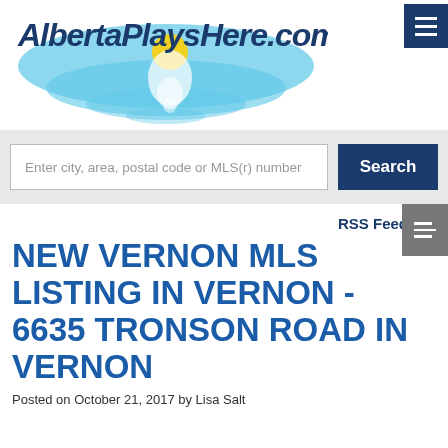[Figure (logo): AlbertaPlaysHere.com logo with blue water/lake reflection graphic]
[Figure (other): Dark blue hamburger menu button in top right corner]
Enter city, area, postal code or MLS(r) number
Search
[Figure (other): Grey sidebar toggle button with hamburger lines and left arrow]
RSS Feed
NEW VERNON MLS LISTING IN VERNON - 6635 TRONSON ROAD IN VERNON
Posted on October 21, 2017 by Lisa Salt